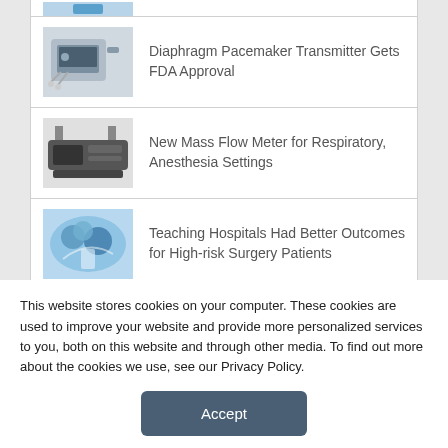Diaphragm Pacemaker Transmitter Gets FDA Approval
New Mass Flow Meter for Respiratory, Anesthesia Settings
Teaching Hospitals Had Better Outcomes for High-risk Surgery Patients
[Figure (photo): Flexicare advertisement banner: blue background with 'flexicare' logo on left, 'Stop the spread' tagline in center, yellow medical tubes/probes on right. Subtitle: SINGLE-USE TEMPERATURE PROBE]
This website stores cookies on your computer. These cookies are used to improve your website and provide more personalized services to you, both on this website and through other media. To find out more about the cookies we use, see our Privacy Policy.